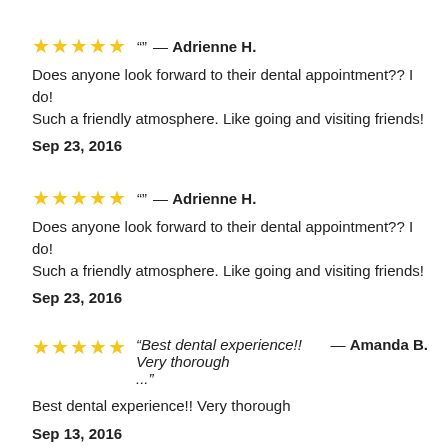★★★★★ "" — Adrienne H.
Does anyone look forward to their dental appointment?? I do! Such a friendly atmosphere. Like going and visiting friends!
Sep 23, 2016
★★★★★ "" — Adrienne H.
Does anyone look forward to their dental appointment?? I do! Such a friendly atmosphere. Like going and visiting friends!
Sep 23, 2016
★★★★★ "Best dental experience!! Very thorough ..." — Amanda B.
Best dental experience!! Very thorough
Sep 13, 2016